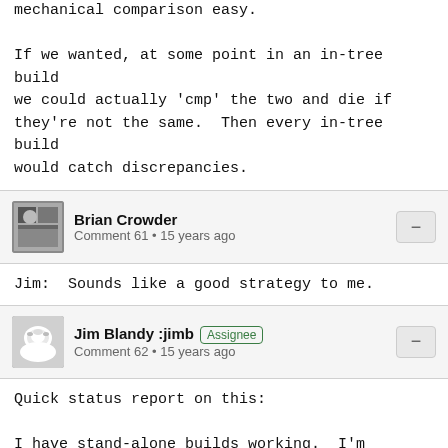mechanical comparison easy.

If we wanted, at some point in an in-tree build we could actually 'cmp' the two and die if they're not the same.  Then every in-tree build would catch discrepancies.
Brian Crowder
Comment 61 • 15 years ago
Jim:  Sounds like a good strategy to me.
Jim Blandy :jimb [Assignee]
Comment 62 • 15 years ago
Quick status report on this:

I have stand-alone builds working.  I'm putting out my work in progress via a public Mercurial repository.  Full instructions are on the wiki